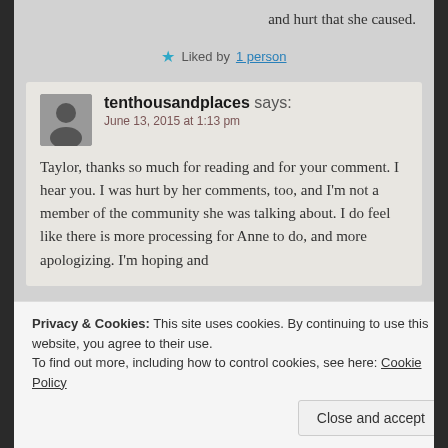and hurt that she caused.
★ Liked by 1 person
tenthousandplaces says:
June 13, 2015 at 1:13 pm

Taylor, thanks so much for reading and for your comment. I hear you. I was hurt by her comments, too, and I'm not a member of the community she was talking about. I do feel like there is more processing for Anne to do, and more apologizing. I'm hoping and
Privacy & Cookies: This site uses cookies. By continuing to use this website, you agree to their use.
To find out more, including how to control cookies, see here: Cookie Policy
Close and accept